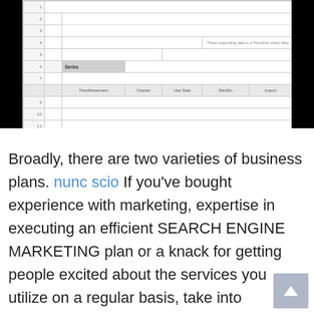[Figure (screenshot): A cropped screenshot of a spreadsheet with black bars on left and right sides. The spreadsheet shows rows with row numbers, a gray 'Series' header cell, column headers including 'Trendlineament', 'Charter', 'Use Sale', 'RadSin', 'import', and a note reading 'These supporting data is a Trendline chart) here'.]
Broadly, there are two varieties of business plans. nunc scio If you've bought experience with marketing, expertise in executing an efficient SEARCH ENGINE MARKETING plan or a knack for getting people excited about the services you utilize on a regular basis, take into consideration refining your skills and placing them to work as a small business advertising guide in your region—particularly in the event you can grow to be a local SEARCH ENGINE OPTIMISATION professional and can assist local shoppers rank larger in their search